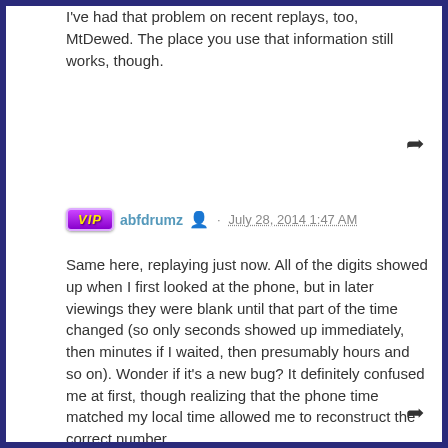I've had that problem on recent replays, too, MtDewed. The place you use that information still works, though.
abfdrumz · July 28, 2014 1:47 AM
Same here, replaying just now. All of the digits showed up when I first looked at the phone, but in later viewings they were blank until that part of the time changed (so only seconds showed up immediately, then minutes if I waited, then presumably hours and so on). Wonder if it's a new bug? It definitely confused me at first, though realizing that the phone time matched my local time allowed me to reconstruct the correct number.